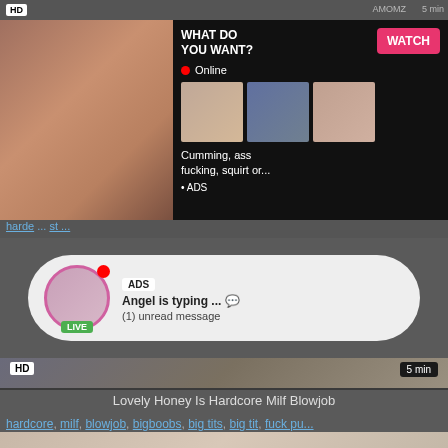[Figure (screenshot): Adult video thumbnail with woman, overlaid with advertisement panel showing 'WHAT DO YOU WANT? WATCH' button, Online status, thumbnails, and 'Cumming, ass fucking, squirt or... ADS' text]
WHAT DO YOU WANT?
WATCH
Online
Cumming, ass fucking, squirt or...
• ADS
harde ... st ...
[Figure (screenshot): Live chat advertisement bubble with avatar image showing woman, LIVE badge, notification dot, 'ADS' label, text 'Angel is typing ... 💬 (1) unread message']
ADS
Angel is typing ... 💬
(1) unread message
LIVE
[Figure (screenshot): Adult video thumbnail - second video showing blonde woman, HD badge, 5 min duration label]
HD
5 min
Lovely Honey Is Hardcore Milf Blowjob
hardcore, milf, blowjob, bigboobs, big tits, big tit, fuck pu...
[Figure (screenshot): Adult video thumbnail strip - bottom, showing two women kissing]